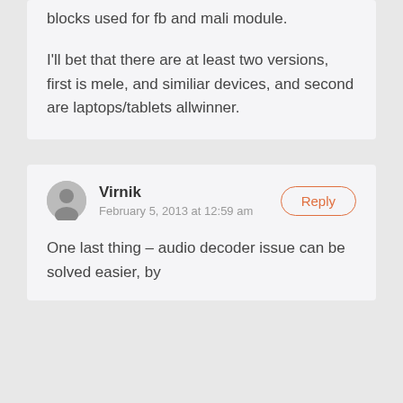blocks used for fb and mali module.

I'll bet that there are at least two versions, first is mele, and similiar devices, and second are laptops/tablets allwinner.
Virnik
February 5, 2013 at 12:59 am
One last thing – audio decoder issue can be solved easier, by